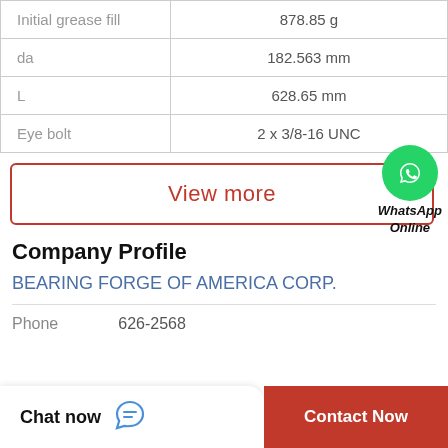| Property | Value |
| --- | --- |
| Initial grease fill | 878.85 g |
| da | 182.563 mm |
| L | 628.65 mm |
| Eye bolt | 2 x 3/8-16 UNC |
View more
[Figure (logo): WhatsApp green circle icon with phone handset, labeled WhatsApp Online]
Company Profile
BEARING FORGE OF AMERICA CORP.
Phone   626-2568
Chat now   Contact Now